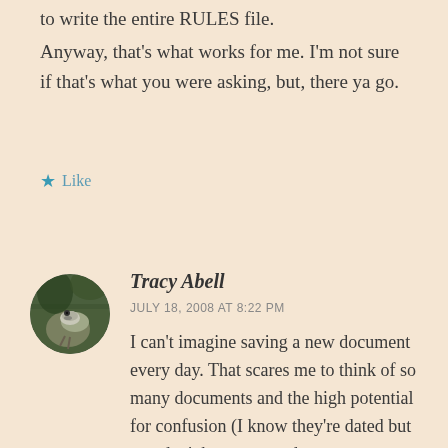to write the entire RULES file.
Anyway, that's what works for me. I'm not sure if that's what you were asking, but, there ya go.
★ Like
[Figure (photo): Circular avatar photo of a bird (appears to be a junco or similar small bird) perched on a surface, in a round cropped frame.]
Tracy Abell
JULY 18, 2008 AT 8:22 PM
I can't imagine saving a new document every day. That scares me to think of so many documents and the high potential for confusion (I know they're dated but you don't know me and my computer issues. Ahem) It's so interesting how